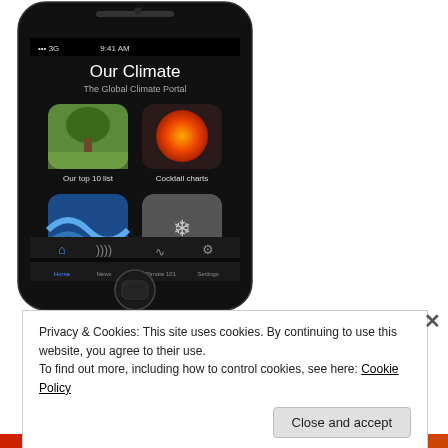[Figure (screenshot): iPhone screenshot showing 'Our Climate - The Global Climate Portal' app home screen with four app icons: 'Our top 10 list', 'Cocktail charts', 'Have your say', 'Try our quiz!' and a bottom navigation bar with Home, News, Climate 101, Settings icons.]
Privacy & Cookies: This site uses cookies. By continuing to use this website, you agree to their use.
To find out more, including how to control cookies, see here: Cookie Policy